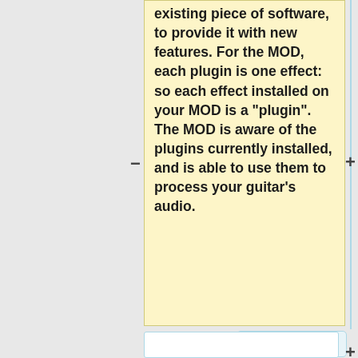existing piece of software, to provide it with new features. For the MOD, each plugin is one effect: so each effect installed on your MOD is a "plugin". The MOD is aware of the plugins currently installed, and is able to use them to process your guitar's audio.
* LV2 standard